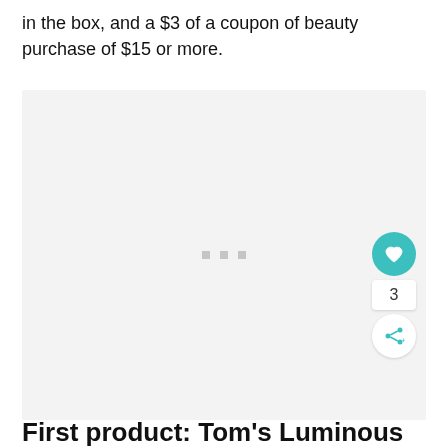in the box, and a $3 of a coupon of beauty purchase of $15 or more.
[Figure (photo): Large image placeholder with light gray background and three small gray dots centered, with a teal heart/like button, count of 3, and share button overlaid on the right side.]
First product: Tom's Luminous